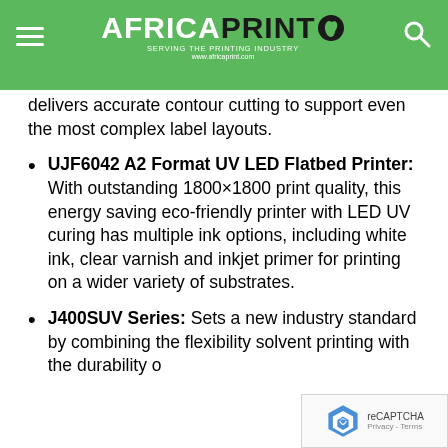Africa Print - www.africaprint.com
delivers accurate contour cutting to support even the most complex label layouts.
UJF6042 A2 Format UV LED Flatbed Printer: With outstanding 1800×1800 print quality, this energy saving eco-friendly printer with LED UV curing has multiple ink options, including white ink, clear varnish and inkjet primer for printing on a wider variety of substrates.
J400SUV Series: Sets a new industry standard by combining the flexibility solvent printing with the durability o...